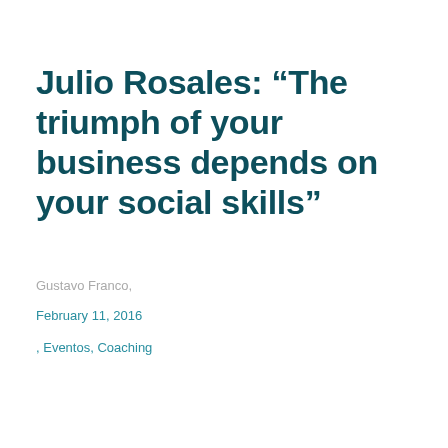Julio Rosales: “The triumph of your business depends on your social skills”
Gustavo Franco,
February 11, 2016
, Eventos, Coaching